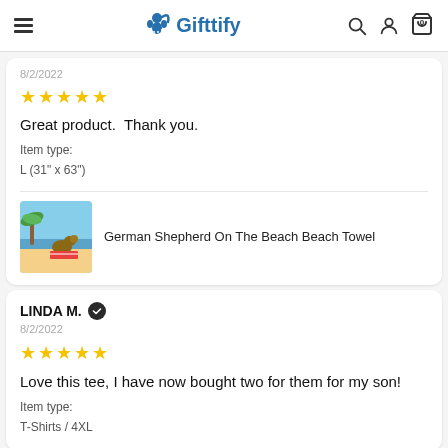Gifttify — navigation header with search, account, cart icons
8/2/2022
[Figure (other): 5 yellow star rating]
Great product.  Thank you.
Item type:
L (31" x 63")
[Figure (photo): Product thumbnail: German Shepherd On The Beach Beach Towel]
German Shepherd On The Beach Beach Towel
LINDA M.
8/2/2022
[Figure (other): 5 yellow star rating]
Love this tee, I have now bought two for them for my son!
Item type:
T-Shirts / 4XL